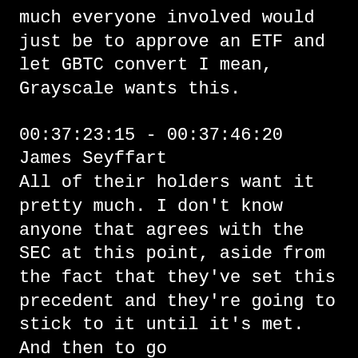much everyone involved would just be to approve an ETF and let GBTC convert I mean, Grayscale wants this.
00:37:23:15 - 00:37:46:20
James Seyffart
All of their holders want it pretty much. I don't know anyone that agrees with the SEC at this point, aside from the fact that they've set this precedent and they're going to stick to it until it's met. And then to go